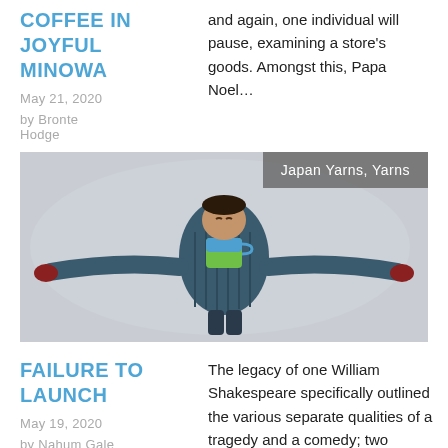COFFEE IN JOYFUL MINOWA
May 21, 2020
by Bronte Hodge
and again, one individual will pause, examining a store's goods. Amongst this, Papa Noel…
[Figure (photo): Person in a puffer jacket lying spread-eagle on snow, holding a colorful mug on their chest, viewed from above. A tag overlay reads 'Japan Yarns, Yarns'.]
FAILURE TO LAUNCH
May 19, 2020
by Nahum Gale
The legacy of one William Shakespeare specifically outlined the various separate qualities of a tragedy and a comedy; two stories destined